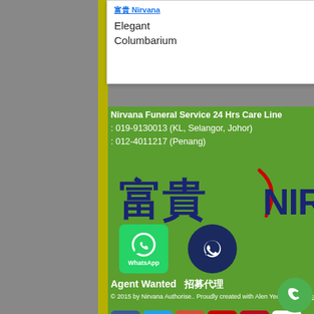Elegant Columbarium
Nirvana Funeral Service 24 Hrs Care Line : 019-9130013 (KL, Selangor, Johor) : 012-4011217 (Penang)
[Figure (logo): Nirvana 富貴 logo with Chinese characters and red swoosh]
[Figure (illustration): WhatsApp icon green box with label and dark navy phone circle icon]
Agent Wanted 招募代理
© 2015 by Nirvana Authorise.. Proudly created with Alen Yeoh, Evo Marketing.
[Figure (infographic): Social media icons row: Facebook, Twitter, Google+, YouTube, Pinterest, phone; green call button bottom right]